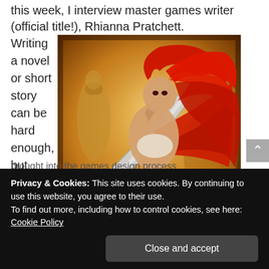this week, I interview master games writer (official title!), Rhianna Pratchett.
Writing a novel or short story can be hard enough, but
[Figure (illustration): Fantasy warrior woman with long red hair wielding a large sword, in front of golden statue background — game artwork]
brought into the games design process
Privacy & Cookies: This site uses cookies. By continuing to use this website, you agree to their use.
To find out more, including how to control cookies, see here: Cookie Policy
Close and accept